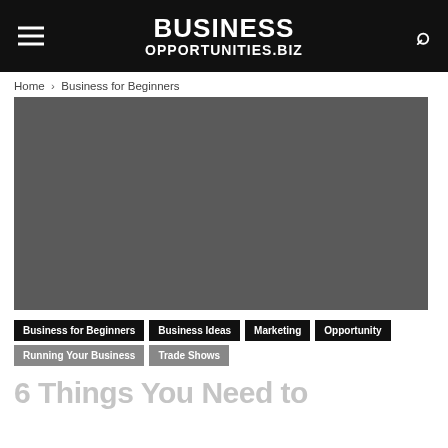BUSINESS OPPORTUNITIES.BIZ
Home › Business for Beginners
[Figure (photo): Large dark gray hero image placeholder]
Business for Beginners  Business Ideas  Marketing  Opportunity  Running Your Business  Trade Shows
6 Things You Need to